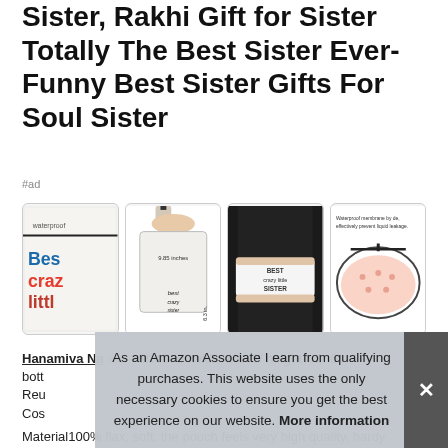Sister, Rakhi Gift for Sister Totally The Best Sister Ever- Funny Best Sister Gifts For Soul Sister
#ad
[Figure (photo): Four product images of a cosmetic/makeup pouch with sister-themed text, shown from different angles including measurements and cross-section.]
Hanamiva Na #ad - Size9. 5" width x 6. 3" height x 1. 6" bott Reu Cos
As an Amazon Associate I earn from qualifying purchases. This website uses the only necessary cookies to ensure you get the best experience on our website. More information
Material100% flax, soft, the pouch feels very high quality, hardy